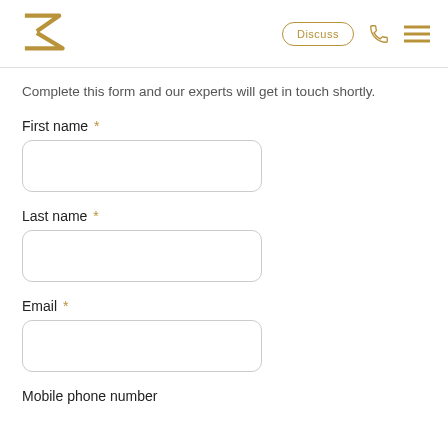[Figure (logo): Stylized double-Z arrow logo in gold/olive color]
Complete this form and our experts will get in touch shortly.
First name *
Last name *
Email *
Mobile phone number